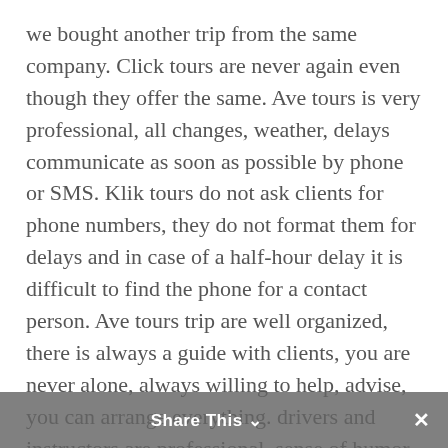we bought another trip from the same company. Click tours are never again even though they offer the same. Ave tours is very professional, all changes, weather, delays communicate as soon as possible by phone or SMS. Klik tours do not ask clients for phone numbers, they do not format them for delays and in case of a half-hour delay it is difficult to find the phone for a contact person. Ave tours trip are well organized, there is always a guide with clients, you are never alone, always willing to help, advise, you can arrange everything. drivers and instructors are professional, sense of humor, they
Share This ✕